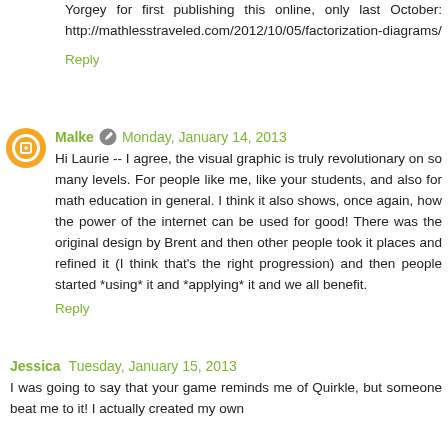Yorgey for first publishing this online, only last October: http://mathlesstraveled.com/2012/10/05/factorization-diagrams/
Reply
Malke  Monday, January 14, 2013
Hi Laurie -- I agree, the visual graphic is truly revolutionary on so many levels. For people like me, like your students, and also for math education in general. I think it also shows, once again, how the power of the internet can be used for good! There was the original design by Brent and then other people took it places and refined it (I think that's the right progression) and then people started *using* it and *applying* it and we all benefit.
Reply
Jessica  Tuesday, January 15, 2013
I was going to say that your game reminds me of Quirkle, but someone beat me to it! I actually created my own